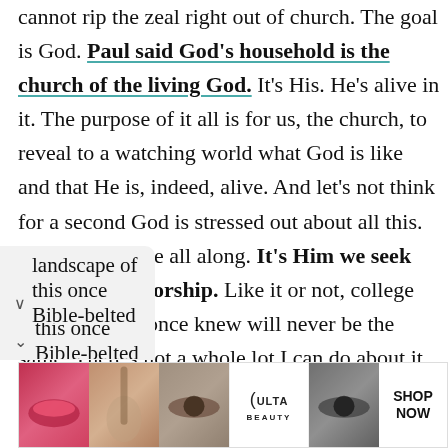cannot rip the zeal right out of church. The goal is God. Paul said God's household is the church of the living God. It's His. He's alive in it. The purpose of it all is for us, the church, to reveal to a watching world what God is like and that He is, indeed, alive. And let's not think for a second God is stressed out about all this. Here's been here all along. It's Him we seek and Him we worship. Like it or not, college football as we once knew will never be the same. There's not a whole lot I can do about it. And, like it or not, landscape of this once Bible-belted area
[Figure (other): Ulta Beauty advertisement banner showing makeup images (lips, brush, eye) with ULTA logo and SHOP NOW call to action]